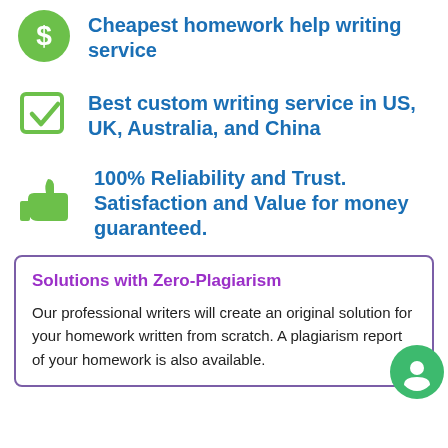Cheapest homework help writing service
Best custom writing service in US, UK, Australia, and China
100% Reliability and Trust. Satisfaction and Value for money guaranteed.
Solutions with Zero-Plagiarism
Our professional writers will create an original solution for your homework written from scratch. A plagiarism report of your homework is also available.